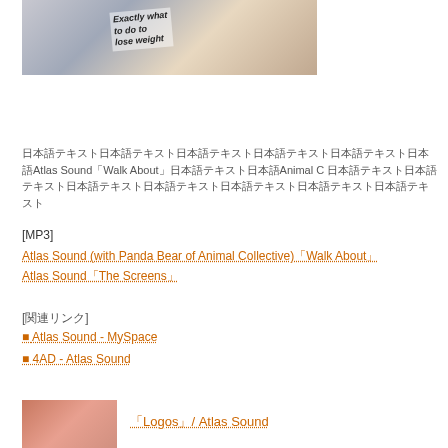[Figure (photo): Photo of person holding a magazine at a newsstand, magazine cover visible with text about weight loss]
日本語テキスト Atlas Sound「Walk About」日本語テキスト Animal C 日本語テキスト
[MP3]
Atlas Sound (with Panda Bear of Animal Collective)「Walk About」
Atlas Sound「The Screens」
[関連リンク]
■ Atlas Sound - MySpace
■ 4AD - Atlas Sound
[Figure (photo): Small album cover thumbnail, warm reddish tones]
「Logos」/ Atlas Sound